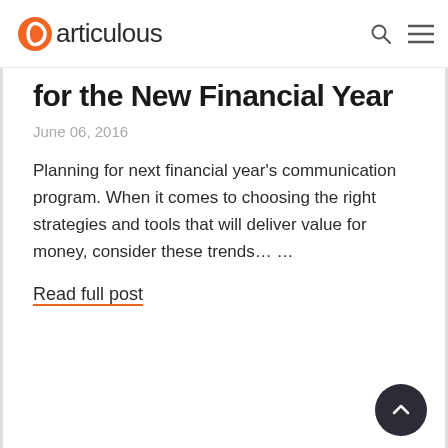articulous
for the New Financial Year
June 06, 2016
Planning for next financial year's communication program. When it comes to choosing the right strategies and tools that will deliver value for money, consider these trends… …
Read full post